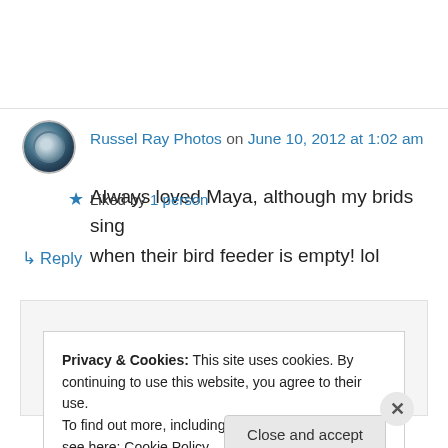Russel Ray Photos on June 10, 2012 at 1:02 am
Always loved Maya, although my brids sing when their bird feeder is empty! lol
Liked by 1 person
↳ Reply
Privacy & Cookies: This site uses cookies. By continuing to use this website, you agree to their use.
To find out more, including how to control cookies, see here: Cookie Policy